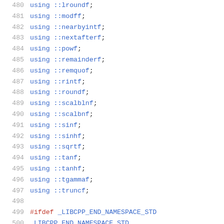480  using ::lroundf;
481  using ::modff;
482  using ::nearbyintf;
483  using ::nextafterf;
484  using ::powf;
485  using ::remainderf;
486  using ::remquof;
487  using ::rintf;
488  using ::roundf;
489  using ::scalblnf;
490  using ::scalbnf;
491  using ::sinf;
492  using ::sinhf;
493  using ::sqrtf;
494  using ::tanf;
495  using ::tanhf;
496  using ::tgammaf;
497  using ::truncf;
498
499  #ifdef _LIBCPP_END_NAMESPACE_STD
500  _LIBCPP_END_NAMESPACE_STD